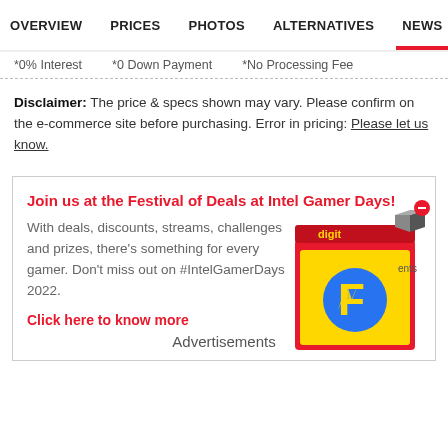OVERVIEW   PRICES   PHOTOS   ALTERNATIVES   NEWS   U
*0% Interest   *0 Down Payment   *No Processing Fee
Disclaimer: The price & specs shown may vary. Please confirm on the e-commerce site before purchasing. Error in pricing: Please let us know.
[Figure (infographic): Advertisement box for Intel Gamer Days with Flipkart/Digit branded red shopping bag illustration. Contains headline: Join us at the Festival of Deals at Intel Gamer Days!, body text about deals, discounts, streams, challenges and prizes for #IntelGamerDays 2022, and a 'Click here to know more' call to action. An overlay icon (red circle with minus sign) and a 3D cube icon appear in the top right. An 'Advertisements' label appears at the bottom center.]
Advertisements